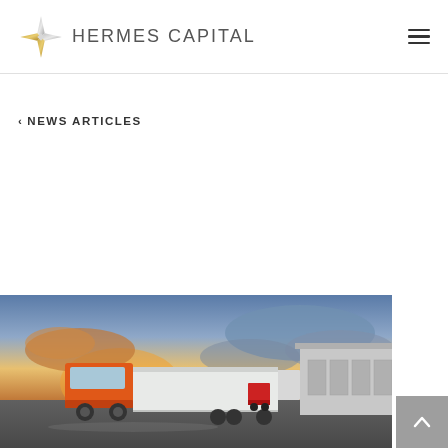HERMES CAPITAL
< NEWS ARTICLES
[Figure (photo): Orange freight truck with trailer parked at a logistics warehouse/distribution center under a dramatic sunset sky with orange and blue clouds.]